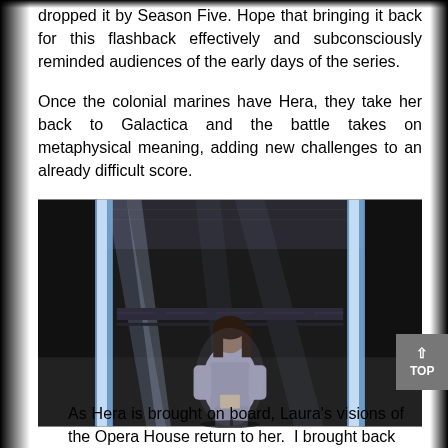dropped it by Season Five. Hope that bringing it back for this flashback effectively and subconsciously reminded audiences of the early days of the series.
Once the colonial marines have Hera, they take her back to Galactica and the battle takes on metaphysical meaning, adding new challenges to an already difficult score.
[Figure (photo): A figure wearing a light grey outfit stands in a dark, dramatic interior space with bright light beams visible in the background.]
As Hera is brought on board, Laura's visions of the Opera House return to her.  I brought back